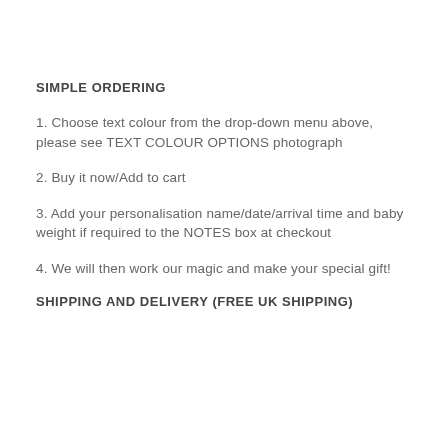SIMPLE ORDERING
1. Choose text colour from the drop-down menu above, please see TEXT COLOUR OPTIONS photograph
2. Buy it now/Add to cart
3. Add your personalisation name/date/arrival time and baby weight if required to the NOTES box at checkout
4. We will then work our magic and make your special gift!
SHIPPING AND DELIVERY (FREE UK SHIPPING)